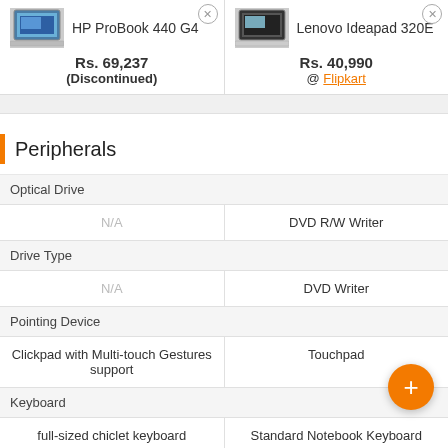| HP ProBook 440 G4 | Lenovo Ideapad 320E |
| --- | --- |
| Rs. 69,237
(Discontinued) | Rs. 40,990
@ Flipkart |
| Optical Drive |  |
| N/A | DVD R/W Writer |
| Drive Type |  |
| N/A | DVD Writer |
| Pointing Device |  |
| Clickpad with Multi-touch Gestures support | Touchpad |
| Keyboard |  |
| full-sized chiclet keyboard | Standard Notebook Keyboard |
Peripherals